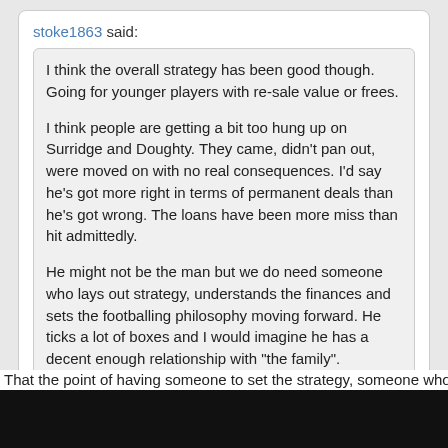stoke1863 said:
I think the overall strategy has been good though. Going for younger players with re-sale value or frees.

I think people are getting a bit too hung up on Surridge and Doughty. They came, didn't pan out, were moved on with no real consequences. I'd say he's got more right in terms of permanent deals than he's got wrong. The loans have been more miss than hit admittedly.

He might not be the man but we do need someone who lays out strategy, understands the finances and sets the footballing philosophy moving forward. He ticks a lot of boxes and I would imagine he has a decent enough relationship with "the family".
He was pretty lucky that someone else was willing to take them though. It's really not a great look for players he's spent what meagre fees are available to us on to not work out. He seems not to rate Wilmot either.